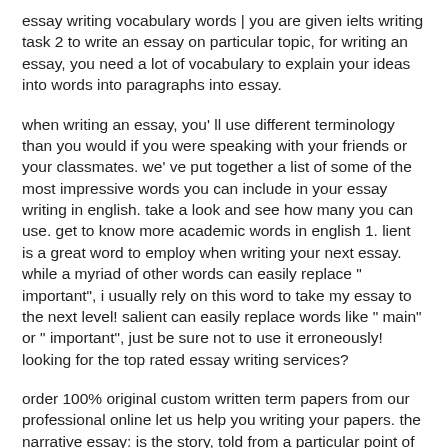essay writing vocabulary words | you are given ielts writing task 2 to write an essay on particular topic, for writing an essay, you need a lot of vocabulary to explain your ideas into words into paragraphs into essay.
when writing an essay, you' ll use different terminology than you would if you were speaking with your friends or your classmates. we' ve put together a list of some of the most impressive words you can include in your essay writing in english. take a look and see how many you can use. get to know more academic words in english 1. lient is a great word to employ when writing your next essay. while a myriad of other words can easily replace " important", i usually rely on this word to take my essay to the next level! salient can easily replace words like " main" or " important", just be sure not to use it erroneously! looking for the top rated essay writing services?
order 100% original custom written term papers from our professional online let us help you writing your papers. the narrative essay: is the story, told from a particular point of